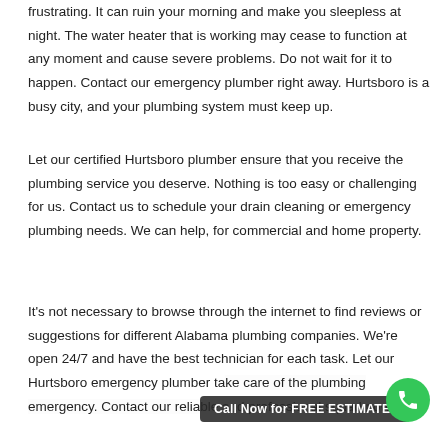frustrating. It can ruin your morning and make you sleepless at night. The water heater that is working may cease to function at any moment and cause severe problems. Do not wait for it to happen. Contact our emergency plumber right away. Hurtsboro is a busy city, and your plumbing system must keep up.
Let our certified Hurtsboro plumber ensure that you receive the plumbing service you deserve. Nothing is too easy or challenging for us. Contact us to schedule your drain cleaning or emergency plumbing needs. We can help, for commercial and home property.
It's not necessary to browse through the internet to find reviews or suggestions for different Alabama plumbing companies. We're open 24/7 and have the best technician for each task. Let our Hurtsboro emergency plumber take care of the plumbing emergency. Contact our reliable and professional squad now for